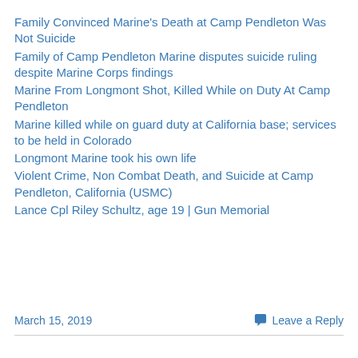Family Convinced Marine's Death at Camp Pendleton Was Not Suicide
Family of Camp Pendleton Marine disputes suicide ruling despite Marine Corps findings
Marine From Longmont Shot, Killed While on Duty At Camp Pendleton
Marine killed while on guard duty at California base; services to be held in Colorado
Longmont Marine took his own life
Violent Crime, Non Combat Death, and Suicide at Camp Pendleton, California (USMC)
Lance Cpl Riley Schultz, age 19 | Gun Memorial
March 15, 2019    Leave a Reply